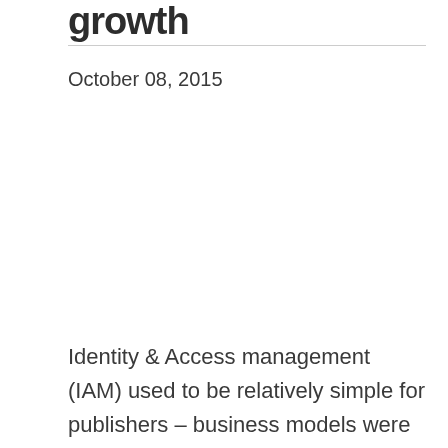growth
October 08, 2015
Identity & Access management (IAM) used to be relatively simple for publishers – business models were largely subscription based and authentication was largely based on IP ranges and